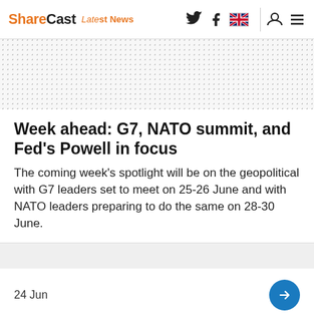ShareCast Latest News
[Figure (other): Decorative dotted pattern band background]
Week ahead: G7, NATO summit, and Fed's Powell in focus
The coming week's spotlight will be on the geopolitical with G7 leaders set to meet on 25-26 June and with NATO leaders preparing to do the same on 28-30 June.
24 Jun